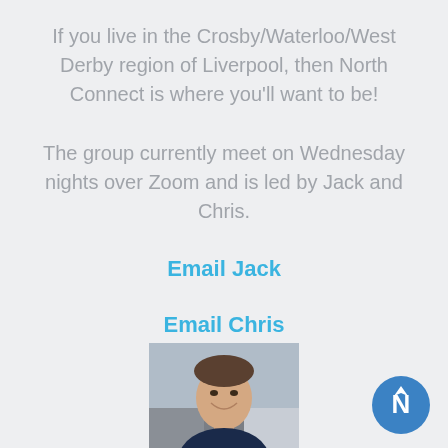If you live in the Crosby/Waterloo/West Derby region of Liverpool, then North Connect is where you'll want to be!
The group currently meet on Wednesday nights over Zoom and is led by Jack and Chris.
Email Jack
Email Chris
[Figure (photo): Photo of a smiling young man, cropped at bottom of page]
[Figure (logo): Blue circle with white N arrow logo in bottom right corner]